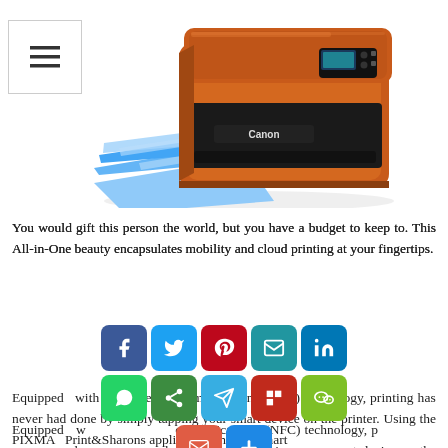[Figure (photo): Orange Canon PIXMA All-in-One printer with blue paper coming out, viewed from a three-quarter angle on white background]
You would gift this person the world, but you have a budget to keep to. This All-in-One beauty encapsulates mobility and cloud printing at your fingertips.
[Figure (infographic): Social media share buttons: Facebook, Twitter, Pinterest, Email, LinkedIn (row 1); WhatsApp, Share, Telegram, Flipboard, WeChat (row 2); Gmail, Add (row 3)]
Equipped with Near Field Communication (NFC) technology, printing has never had done by simply tapping your smart device on the printer. Using the PIXMA Print&Share application on your smart